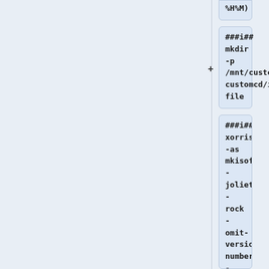%H%M)
###i##
mkdir -p /mnt/custom/customcd/isofile
###i##
xorriso -as mkisofs -joliet -rock -omit-version-number -disable-deep-relocation -b isolinux/isolinux.bin -c